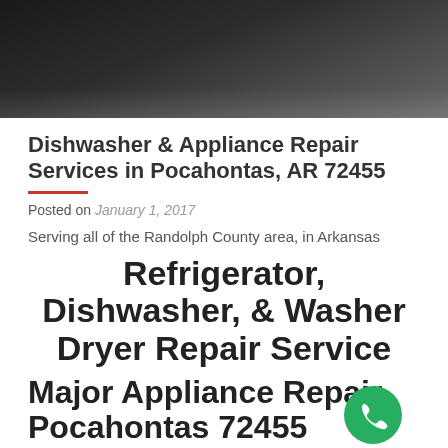[Figure (photo): Dark hero image showing hands or appliance in the background, dark gray/black tones]
Dishwasher & Appliance Repair Services in Pocahontas, AR 72455
Posted on January 1, 2017
Serving all of the Randolph County area, in Arkansas
Refrigerator, Dishwasher, & Washer Dryer Repair Service
Major Appliance Repair Pocahontas 72455
Need an experienced Appliance Repairman? Don't just call any contractor. Appliance Repair specialists all have...